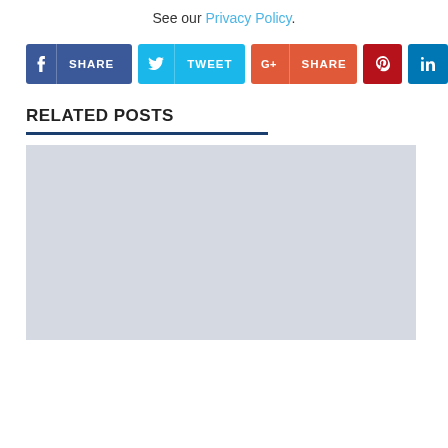See our Privacy Policy.
[Figure (screenshot): Social media share buttons: Facebook Share, Twitter Tweet, Google+ Share, Pinterest, LinkedIn]
RELATED POSTS
[Figure (photo): Placeholder image (light blue-gray rectangle) for a related post]